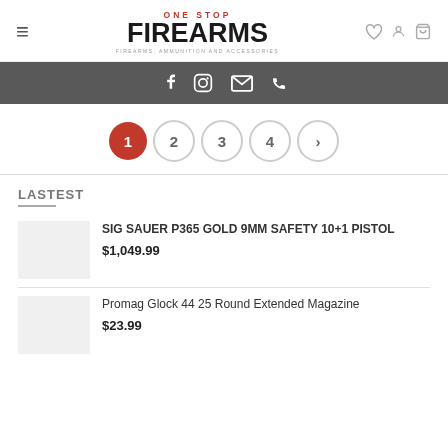ONE STOP FIREARMS — FIREARMS, AMMUNITION AND ACCESSORIES
[Figure (other): Social media icon bar with Facebook, Instagram, email, and phone icons on dark background]
[Figure (other): Pagination controls: page 1 (active/red), 2, 3, 4, next arrow]
LASTEST
SIG SAUER P365 GOLD 9MM SAFETY 10+1 PISTOL
$1,049.99
Promag Glock 44 25 Round Extended Magazine
$23.99